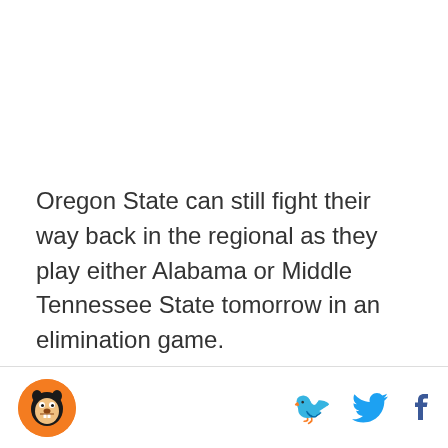Oregon State can still fight their way back in the regional as they play either Alabama or Middle Tennessee State tomorrow in an elimination game.
[Figure (logo): Oregon State Beavers logo — orange circle with stylized beaver head in black and white]